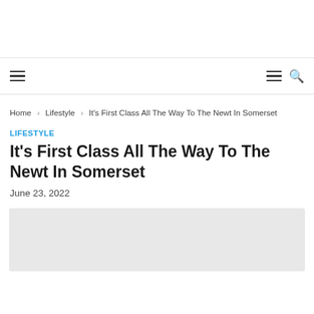☰  ☰ 🔍
Home › Lifestyle › It's First Class All The Way To The Newt In Somerset
LIFESTYLE
It's First Class All The Way To The Newt In Somerset
June 23, 2022
[Figure (photo): Article hero image placeholder (light gray rectangle)]